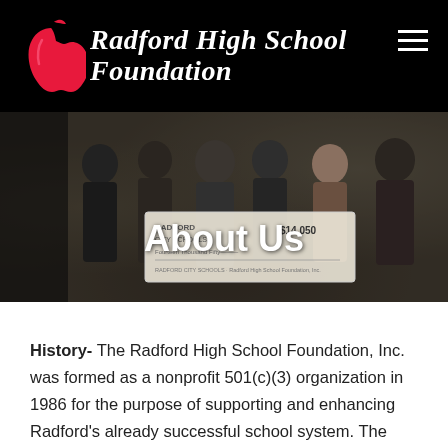Radford High School Foundation
[Figure (photo): Group photo of people holding a large ceremonial check made out to Radford City Schools for $14,050]
About Us
History- The Radford High School Foundation, Inc. was formed as a nonprofit 501(c)(3) organization in 1986 for the purpose of supporting and enhancing Radford's already successful school system. The foundation began as primarily an academic supporter, but has been able to further major athletic facility